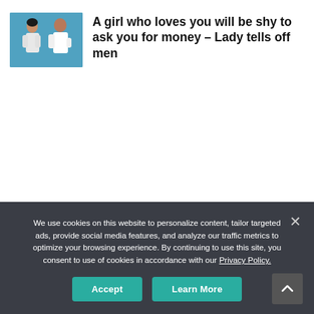[Figure (photo): Two people on a blue background: a woman with arms crossed on the left and a man with hand on chin on the right, both in white clothing]
A girl who loves you will be shy to ask you for money – Lady tells off men
We use cookies on this website to personalize content, tailor targeted ads, provide social media features, and analyze our traffic metrics to optimize your browsing experience. By continuing to use this site, you consent to use of cookies in accordance with our Privacy Policy.